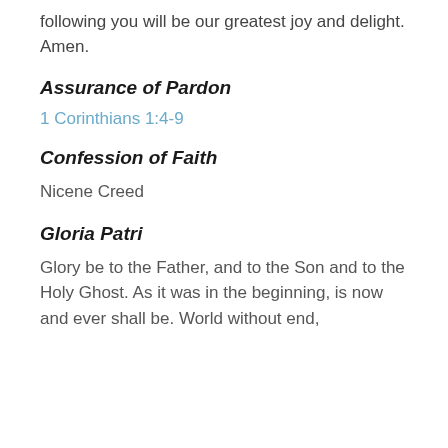following you will be our greatest joy and delight. Amen.
Assurance of Pardon
1 Corinthians 1:4-9
Confession of Faith
Nicene Creed
Gloria Patri
Glory be to the Father, and to the Son and to the Holy Ghost. As it was in the beginning, is now and ever shall be. World without end,